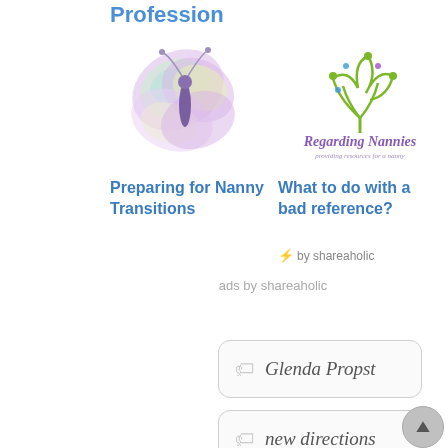Profession
[Figure (illustration): Colorful butterfly illustration with purple, green, and blue wings]
Preparing for Nanny Transitions
[Figure (logo): Regarding Nannies logo with green swirly tree and purple cursive text]
What to do with a bad reference?
by shareaholic
ads by shareaholic
Glenda Propst
new directions